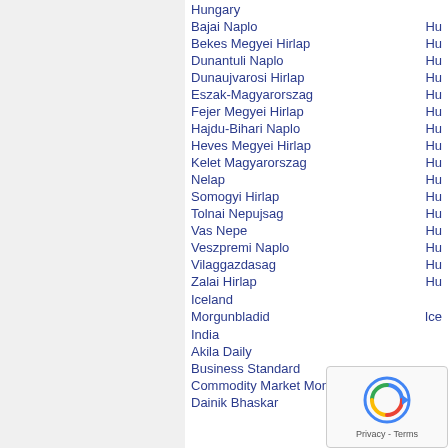Hungary
Bajai Naplo    Hu
Bekes Megyei Hirlap    Hu
Dunantuli Naplo    Hu
Dunaujvarosi Hirlap    Hu
Eszak-Magyarorszag    Hu
Fejer Megyei Hirlap    Hu
Hajdu-Bihari Naplo    Hu
Heves Megyei Hirlap    Hu
Kelet Magyarorszag    Hu
Nelap    Hu
Somogyi Hirlap    Hu
Tolnai Nepujsag    Hu
Vas Nepe    Hu
Veszpremi Naplo    Hu
Vilaggazdasag    Hu
Zalai Hirlap    Hu
Iceland
Morgunbladid    Ice
India
Akila Daily
Business Standard
Commodity Market Monthly Magazine
Dainik Bhaskar    Hi